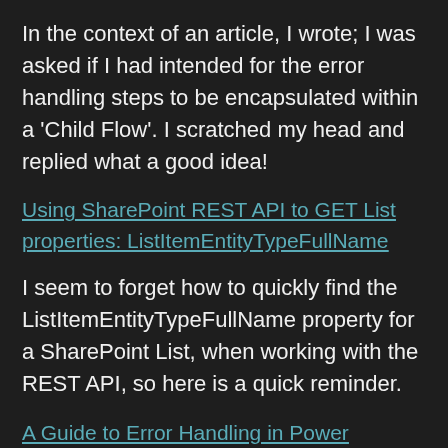In the context of an article, I wrote; I was asked if I had intended for the error handling steps to be encapsulated within a 'Child Flow'. I scratched my head and replied what a good idea!
Using SharePoint REST API to GET List properties: ListItemEntityTypeFullName
I seem to forget how to quickly find the ListItemEntityTypeFullName property for a SharePoint List, when working with the REST API, so here is a quick reminder.
A Guide to Error Handling in Power Automate Flow
This is where the sentence is cut off with...